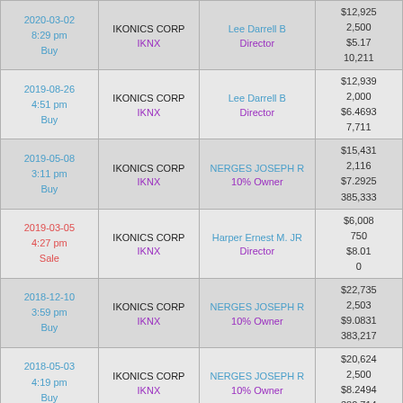| Date/Time/Type | Company/Ticker | Insider/Role | Values |
| --- | --- | --- | --- |
| 2020-03-02 8:29 pm Buy | IKONICS CORP IKNX | Lee Darrell B Director | $12,925 2,500 $5.17 10,211 |
| 2019-08-26 4:51 pm Buy | IKONICS CORP IKNX | Lee Darrell B Director | $12,939 2,000 $6.4693 7,711 |
| 2019-05-08 3:11 pm Buy | IKONICS CORP IKNX | NERGES JOSEPH R 10% Owner | $15,431 2,116 $7.2925 385,333 |
| 2019-03-05 4:27 pm Sale | IKONICS CORP IKNX | Harper Ernest M. JR Director | $6,008 750 $8.01 0 |
| 2018-12-10 3:59 pm Buy | IKONICS CORP IKNX | NERGES JOSEPH R 10% Owner | $22,735 2,503 $9.0831 383,217 |
| 2018-05-03 4:19 pm Buy | IKONICS CORP IKNX | NERGES JOSEPH R 10% Owner | $20,624 2,500 $8.2494 380,714 |
| 2018-07-?? ... | ... | ... | $39,961 |